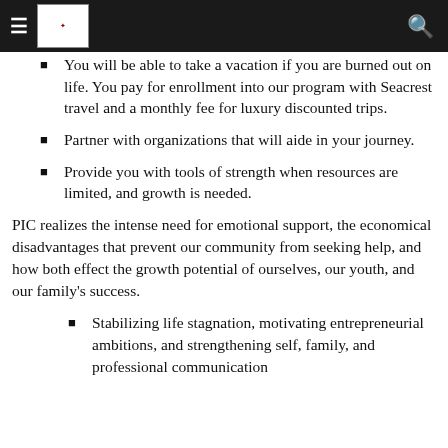Navigation header with hamburger menu, logo, and search icon
You will be able to take a vacation if you are burned out on life. You pay for enrollment into our program with Seacrest travel and a monthly fee for luxury discounted trips.
Partner with organizations that will aide in your journey.
Provide you with tools of strength when resources are limited, and growth is needed.
PIC realizes the intense need for emotional support, the economical disadvantages that prevent our community from seeking help, and how both effect the growth potential of ourselves, our youth, and our family's success.
Stabilizing life stagnation, motivating entrepreneurial ambitions, and strengthening self, family, and professional communication